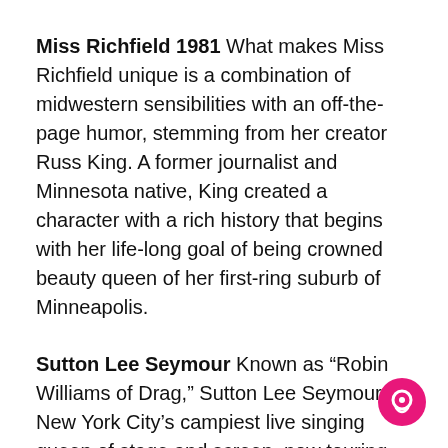Miss Richfield 1981 What makes Miss Richfield unique is a combination of midwestern sensibilities with an off-the-page humor, stemming from her creator Russ King. A former journalist and Minnesota native, King created a character with a rich history that begins with her life-long goal of being crowned beauty queen of her first-ring suburb of Minneapolis.
Sutton Lee Seymour Known as “Robin Williams of Drag,” Sutton Lee Seymour is New York City’s campiest live singing queen of stage and screen, now touring her best selling shows from coast to coast in the United States, Puerto Vallarta, Mexico, Brazil, Europe, and also the seven seas with Atlantis Events!
[Figure (illustration): Pink circular chat/messenger icon in the bottom-right corner]